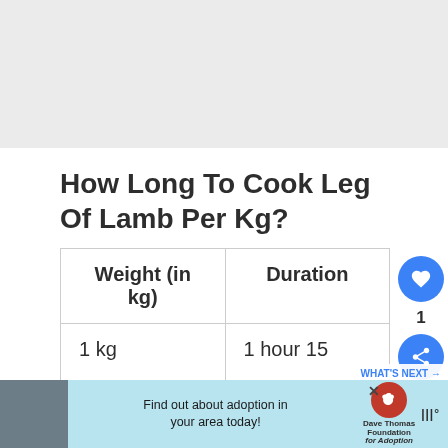[Figure (photo): Light gray rectangular placeholder image at the top of the page]
How Long To Cook Leg Of Lamb Per Kg?
| Weight (in kg) | Duration |
| --- | --- |
| 1 kg | 1 hour 15 minutes |
[Figure (screenshot): Advertisement banner at the bottom featuring a person in winter clothing, blue background text, Dave Thomas Foundation for Adoption logo, and a close button]